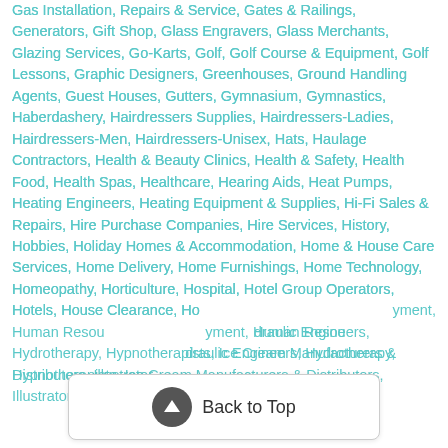Gas Installation, Repairs & Service, Gates & Railings, Generators, Gift Shop, Glass Engravers, Glass Merchants, Glazing Services, Go-Karts, Golf, Golf Course & Equipment, Golf Lessons, Graphic Designers, Greenhouses, Ground Handling Agents, Guest Houses, Gutters, Gymnasium, Gymnastics, Haberdashery, Hairdressers Supplies, Hairdressers-Ladies, Hairdressers-Men, Hairdressers-Unisex, Hats, Haulage Contractors, Health & Beauty Clinics, Health & Safety, Health Food, Health Spas, Healthcare, Hearing Aids, Heat Pumps, Heating Engineers, Heating Equipment & Supplies, Hi-Fi Sales & Repairs, Hire Purchase Companies, Hire Services, History, Hobbies, Holiday Homes & Accommodation, Home & House Care Services, Home Delivery, Home Furnishings, Home Technology, Homeopathy, Horticulture, Hospital, Hotel Group Operators, Hotels, House Clearance, House Repayment, Human Resources, Hydraulic Engineers, Hydrotherapy, Hypnotherapists, Ice Cream Manufacturers & Distributors, Illustrator
[Figure (other): Back to Top button with upward arrow icon]